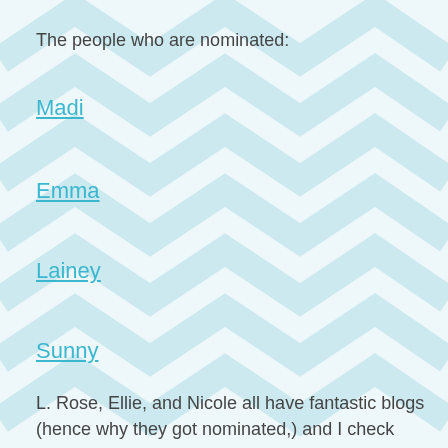The people who are nominated:
Madi
Emma
Lainey
Sunny
L. Rose, Ellie, and Nicole all have fantastic blogs (hence why they got nominated,) and I check them